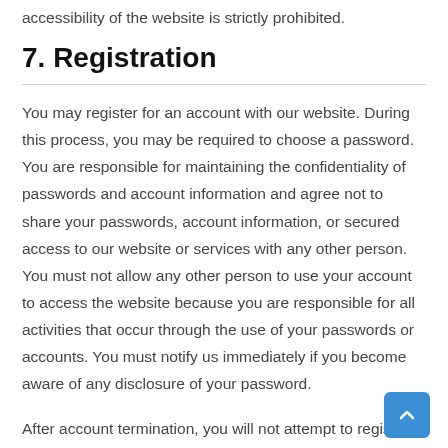accessibility of the website is strictly prohibited.
7. Registration
You may register for an account with our website. During this process, you may be required to choose a password. You are responsible for maintaining the confidentiality of passwords and account information and agree not to share your passwords, account information, or secured access to our website or services with any other person. You must not allow any other person to use your account to access the website because you are responsible for all activities that occur through the use of your passwords or accounts. You must notify us immediately if you become aware of any disclosure of your password.
After account termination, you will not attempt to register a new account without our permission.